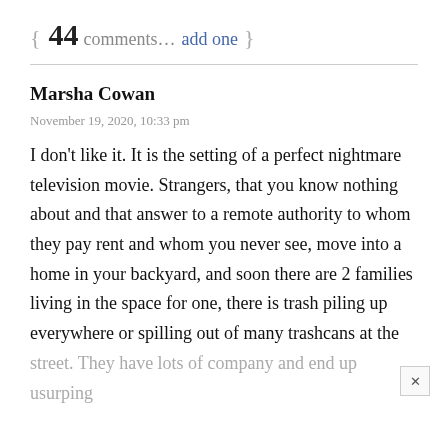{ 44 comments… add one }
Marsha Cowan
November 19, 2020, 10:33 pm
I don't like it. It is the setting of a perfect nightmare television movie. Strangers, that you know nothing about and that answer to a remote authority to whom they pay rent and whom you never see, move into a home in your backyard, and soon there are 2 families living in the space for one, there is trash piling up everywhere or spilling out of many trashcans at the street. They have lots of company and end up usurping